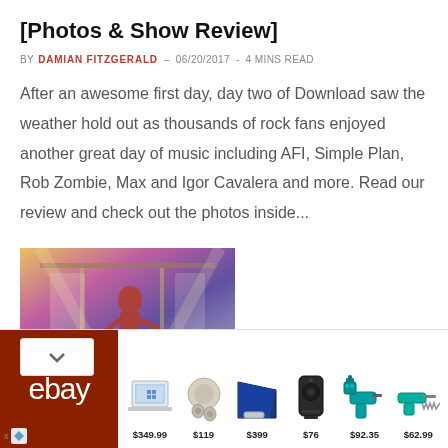[Photos & Show Review]
BY DAMIAN FITZGERALD - 06/20/2017 - 4 MINS READ
After an awesome first day, day two of Download saw the weather hold out as thousands of rock fans enjoyed another great day of music including AFI, Simple Plan, Rob Zombie, Max and Igor Cavalera and more. Read our review and check out the photos inside...
[Figure (photo): Concert photo showing a performer on stage with colorful stage lighting]
[Figure (infographic): eBay advertisement banner showing products: laptop $349.99, earbuds $119, tablet $399, speaker $76, drill set $92.35, saw $62.99]